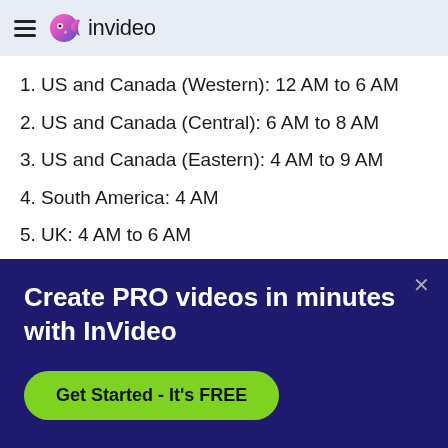invideo
1. US and Canada (Western): 12 AM to 6 AM
2. US and Canada (Central): 6 AM to 8 AM
3. US and Canada (Eastern): 4 AM to 9 AM
4. South America: 4 AM
5. UK: 4 AM to 6 AM
6. Europe (Western): 6 PM to 8 PM
7. Europe (Eastern): 5 AM to 7 AM
8. Africa: 6 AM
9. South Asia and Middle East: 2 AM
Create PRO videos in minutes with InVideo
Get Started - It's FREE